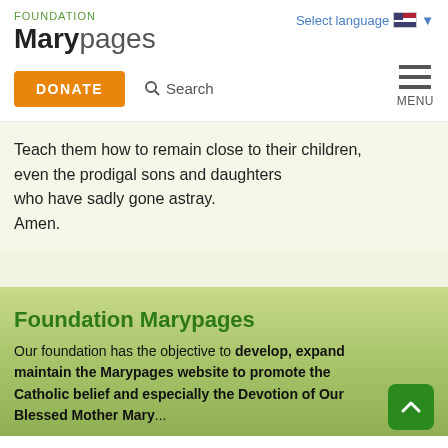FOUNDATION Marypages
Select language
DONATE   Search   MENU
Teach them how to remain close to their children,
even the prodigal sons and daughters
who have sadly gone astray.
Amen.
Foundation Marypages
Our foundation has the objective to develop, expand maintain the Marypages website to promote the Catholic belief and especially the Devotion of Our Blessed Mother Mary...